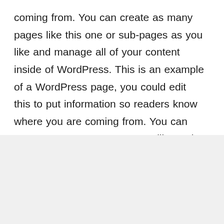coming from. You can create as many pages like this one or sub-pages as you like and manage all of your content inside of WordPress. This is an example of a WordPress page, you could edit this to put information so readers know where you are coming from. You can create as many pages as you like and manage all of your content.